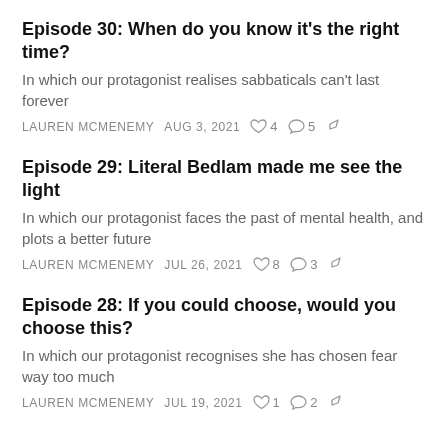Episode 30: When do you know it’s the right time?
In which our protagonist realises sabbaticals can’t last forever
LAUREN MCMENEMY   AUG 3, 2021   ♡ 4   ☐ 5   ↪
Episode 29: Literal Bedlam made me see the light
In which our protagonist faces the past of mental health, and plots a better future
LAUREN MCMENEMY   JUL 26, 2021   ♡ 8   ☐ 3   ↪
Episode 28: If you could choose, would you choose this?
In which our protagonist recognises she has chosen fear way too much
LAUREN MCMENEMY   JUL 19, 2021   ♡ 1   ☐ 2   ↪